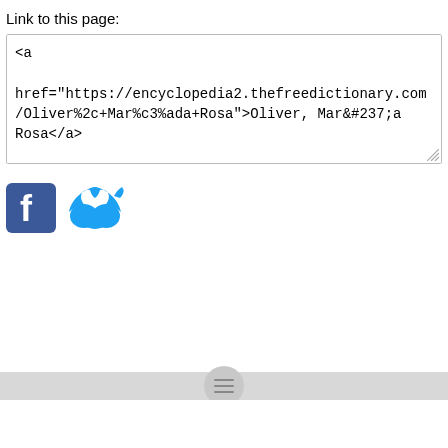Link to this page:
<a href="https://encyclopedia2.thefreedictionary.com/Oliver%2c+Mar%c3%ada+Rosa">Oliver, Mar&#237;a Rosa</a>
[Figure (logo): Facebook logo icon (blue square with white F)]
[Figure (logo): Twitter logo icon (blue bird)]